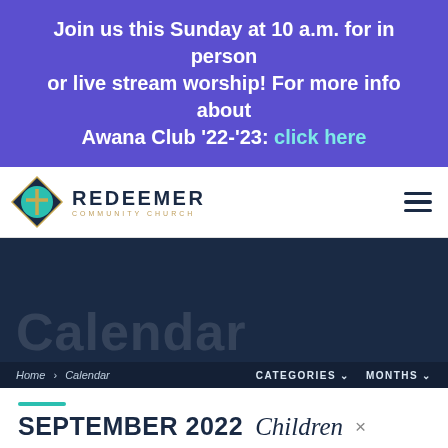Join us this Sunday at 10 a.m. for in person or live stream worship! For more info about Awana Club '22-'23: click here
[Figure (logo): Redeemer Community Church logo with diamond shape and cross icon, with text REDEEMER COMMUNITY CHURCH]
[Figure (illustration): Dark navy blue hero banner with faint large white text 'Calendar' and breadcrumb bar showing Home > Calendar with CATEGORIES and MONTHS filter dropdowns]
SEPTEMBER 2022  Children ×
[Figure (illustration): Icon row with teal right arrow, calendar icon, and folder icon]